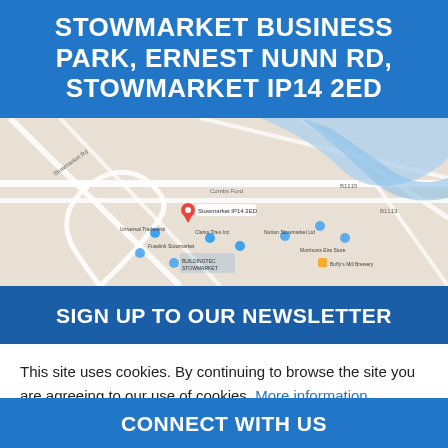STOWMARKET BUSINESS PARK, ERNEST NUNN RD, STOWMARKET IP14 2ED
[Figure (map): Google map showing the location of Stowmarket Business Park on Ernest Nunn Rd, Stowmarket IP14 2ED, with a red pin marker and surrounding roads and landmarks visible.]
SIGN UP TO OUR NEWSLETTER
This site uses cookies. By continuing to browse the site you are agreeing to our use of cookies. More information
Continue
CONNECT WITH US